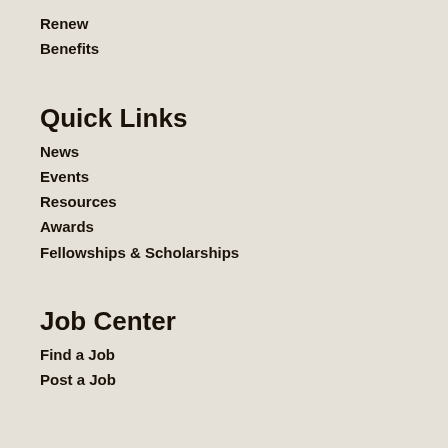Renew
Benefits
Quick Links
News
Events
Resources
Awards
Fellowships & Scholarships
Job Center
Find a Job
Post a Job
Our Organization
About